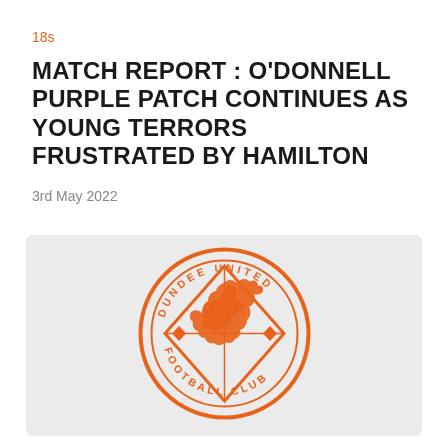18s
MATCH REPORT : O'DONNELL PURPLE PATCH CONTINUES AS YOUNG TERRORS FRUSTRATED BY HAMILTON
3rd May 2022
[Figure (logo): Dundee United Football Club crest — orange circular badge with lion rampant, diamond shape, and text reading DUNDEE UNITED FOOTBALL CLUB]